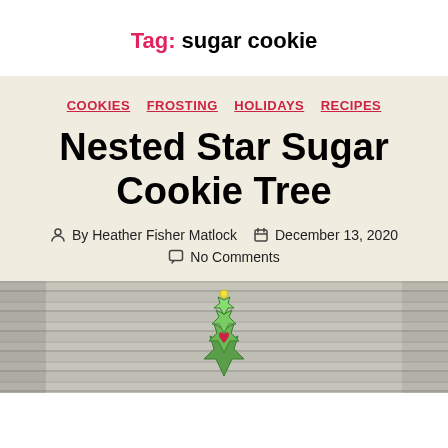Tag: sugar cookie
COOKIES   FROSTING   HOLIDAYS   RECIPES
Nested Star Sugar Cookie Tree
By Heather Fisher Matlock   December 13, 2020   No Comments
[Figure (photo): A stacked nested star sugar cookie tree decorated with green frosting and a red heart, placed on a gray wood-grain surface background]